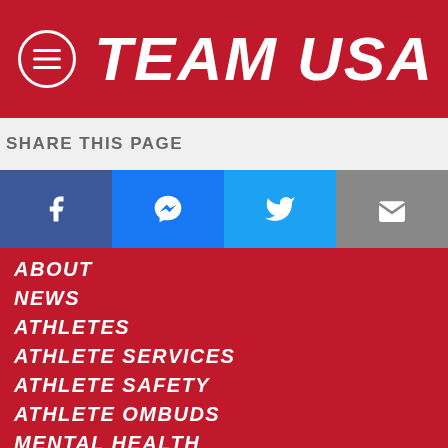TEAM USA
SHARE THIS PAGE
[Figure (infographic): Social share buttons: Facebook, Messenger, Twitter, Email]
ABOUT
NEWS
ATHLETES
ATHLETE SERVICES
ATHLETE SAFETY
ATHLETE OMBUDS
MENTAL HEALTH
DONATE
SHOP
SPONSORS